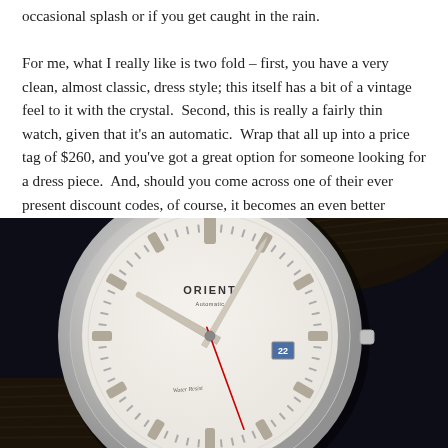occasional splash or if you get caught in the rain. For me, what I really like is two fold – first, you have a very clean, almost classic, dress style; this itself has a bit of a vintage feel to it with the crystal.  Second, this is really a fairly thin watch, given that it's an automatic.  Wrap that all up into a price tag of $260, and you've got a great option for someone looking for a dress piece.  And, should you come across one of their ever present discount codes, of course, it becomes an even better bargain.
[Figure (photo): Close-up photo of an Orient dress watch with a white/cream dial, silver case, silver baton hour markers, silver hands, date window at 3 o'clock, Orient branding on dial, and a dark navy/black leather strap with crocodile texture.]